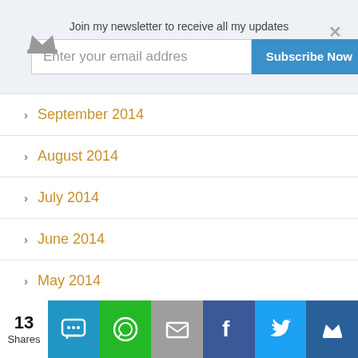[Figure (screenshot): Newsletter subscription banner with crown icon, email input field, Subscribe Now button, and close X button]
September 2014
August 2014
July 2014
June 2014
May 2014
April 2014
March 2014
February 2014
January 2014
December 2013
[Figure (infographic): Social sharing bar showing 13 Shares with buttons for SMS, WhatsApp, Email, Facebook, Twitter, and a crown/bookmark icon]